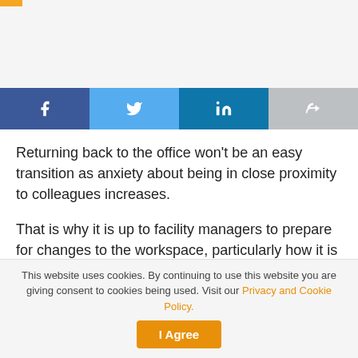[Figure (other): Gray header area with orange accent bar in top-left corner]
[Figure (other): Social share buttons row: Facebook (dark blue, f icon), Twitter (light blue, bird icon), LinkedIn (teal, in icon), Share (gray, arrow icon)]
Returning back to the office won't be an easy transition as anxiety about being in close proximity to colleagues increases.
That is why it is up to facility managers to prepare for changes to the workspace, particularly how it is designed and operated. Health and wellness strategies will be key in ensuring that employees feel safe and secure once they return to their offices.
This website uses cookies. By continuing to use this website you are giving consent to cookies being used. Visit our Privacy and Cookie Policy.